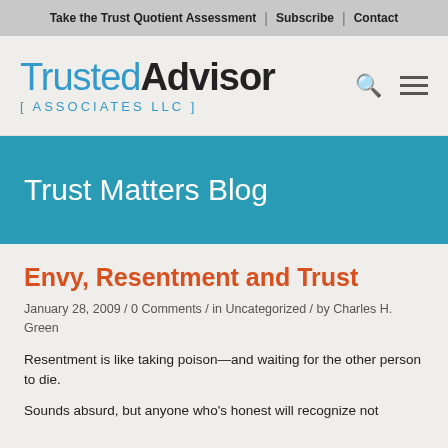Take the Trust Quotient Assessment | Subscribe | Contact
TrustedAdvisor ASSOCIATES LLC
Trust Matters Blog
Envy, Resentment and Trust
January 28, 2009 / 0 Comments / in Uncategorized / by Charles H. Green
Resentment is like taking poison—and waiting for the other person to die.
Sounds absurd, but anyone who's honest will recognize not